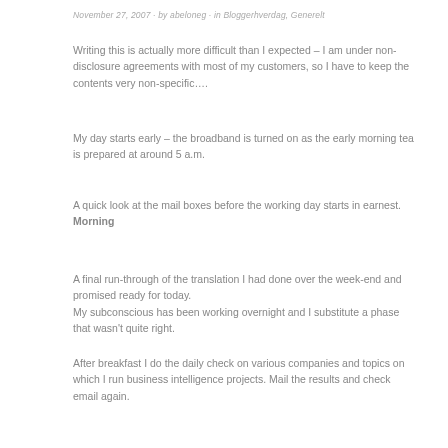November 27, 2007 · by abeloneg · in Bloggerhverdag, Generelt
Writing this is actually more difficult than I expected – I am under non-disclosure agreements with most of my customers, so I have to keep the contents very non-specific….
My day starts early – the broadband is turned on as the early morning tea is prepared at around 5 a.m.
A quick look at the mail boxes before the working day starts in earnest.
Morning
A final run-through of the translation I had done over the week-end and promised ready for today.
My subconscious has been working overnight and I substitute a phase that wasn't quite right.
After breakfast I do the daily check on various companies and topics on which I run business intelligence projects. Mail the results and check email again.